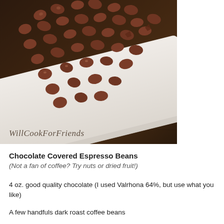[Figure (photo): Close-up photo of chocolate covered espresso beans piled on a white rectangular plate, on a dark wood surface. The watermark 'WillCookForFriends' appears in script at the bottom of the image.]
Chocolate Covered Espresso Beans
(Not a fan of coffee? Try nuts or dried fruit!)
4 oz. good quality chocolate (I used Valrhona 64%, but use what you like)
A few handfuls dark roast coffee beans